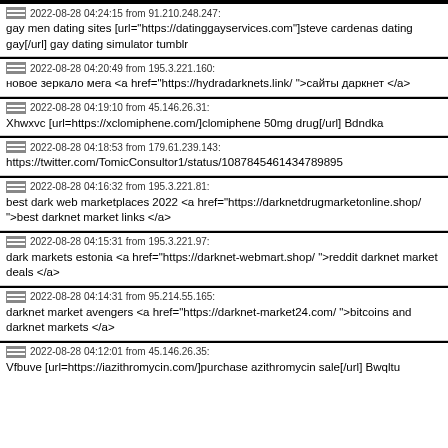2022-08-28 04:24:15 from 91.210.248.247: gay men dating sites [url="https://datinggayservices.com"]steve cardenas dating gay[/url] gay dating simulator tumblr
2022-08-28 04:20:49 from 195.3.221.160: новое зеркало мега <a href="https://hydradarknets.link/ ">сайты даркнет </a>
2022-08-28 04:19:10 from 45.146.26.31: Xhwxvc [url=https://xclomiphene.com/]clomiphene 50mg drug[/url] Bdndka
2022-08-28 04:18:53 from 179.61.239.143: https://twitter.com/TomicConsultor1/status/1087845461434789895
2022-08-28 04:16:32 from 195.3.221.81: best dark web marketplaces 2022 <a href="https://darknetdrugmarketonline.shop/ ">best darknet market links </a>
2022-08-28 04:15:31 from 195.3.221.97: dark markets estonia <a href="https://darknet-webmart.shop/ ">reddit darknet market deals </a>
2022-08-28 04:14:31 from 95.214.55.165: darknet market avengers <a href="https://darknet-market24.com/ ">bitcoins and darknet markets </a>
2022-08-28 04:12:01 from 45.146.26.35: Vfbuve [url=https://iazithromycin.com/]purchase azithromycin sale[/url] Bwqltu